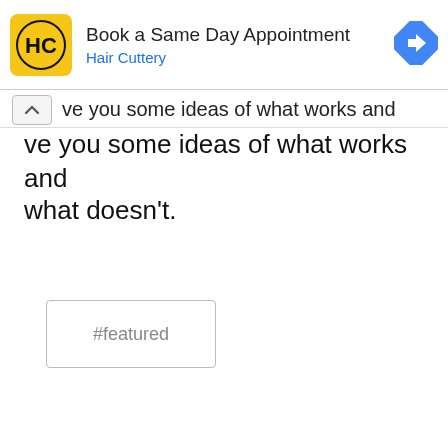[Figure (screenshot): Advertisement banner for Hair Cuttery: yellow logo with 'HC' text, title 'Book a Same Day Appointment', subtitle 'Hair Cuttery' in blue, blue diamond navigation icon on right]
ve you some ideas of what works and what doesn't.
#featured